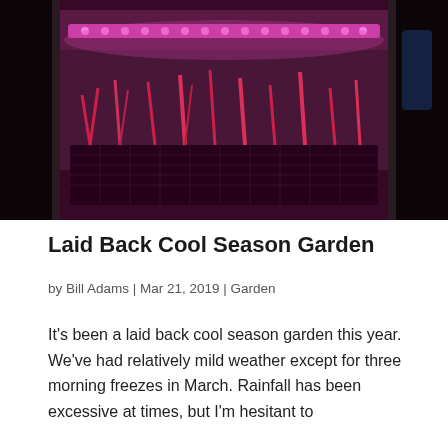[Figure (photo): Indoor plant seedling tray illuminated by a bright pink/magenta LED grow light strip mounted at the top of what appears to be a transparent enclosure or mini greenhouse. Multiple small seedlings are visible in the tray below the light.]
Laid Back Cool Season Garden
by Bill Adams | Mar 21, 2019 | Garden
It's been a laid back cool season garden this year. We've had relatively mild weather except for three morning freezes in March. Rainfall has been excessive at times, but I'm hesitant to